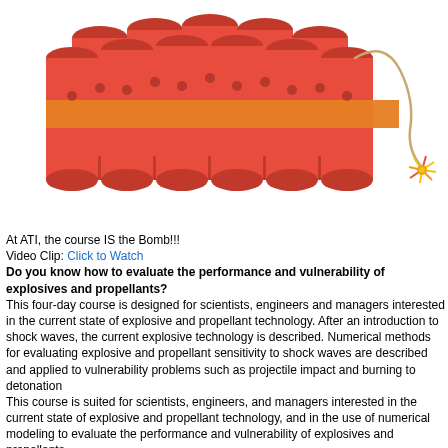[Figure (illustration): Cartoon illustration of a bundle of red dynamite sticks tied with an orange band, with a lit fuse extending to the right ending in a spark/flame.]
At ATI, the course IS the Bomb!!!
Video Clip: Click to Watch
Do you know how to evaluate the performance and vulnerability of explosives and propellants?
This four-day course is designed for scientists, engineers and managers interested in the current state of explosive and propellant technology. After an introduction to shock waves, the current explosive technology is described. Numerical methods for evaluating explosive and propellant sensitivity to shock waves are described and applied to vulnerability problems such as projectile impact and burning to detonation
This course is suited for scientists, engineers, and managers interested in the current state of explosive and propellant technology, and in the use of numerical modeling to evaluate the performance and vulnerability of explosives and propellants
Since 1984, the Applied Technology Institute (ATI) has provided leading-edge public courses and onsite technical training to DoD and NASA personnel, as well as contractors. Whether you are a busy engineer, a technical expert or a project manager, you can enhance your understanding of complex systems in a short time. You will become aware of the basic vocabulary essential to interact meaningfully with your colleagues. If you are in need of more technical training, why not take a short course? ATI short courses are less than a week long and are designed to help you keep your professional knowledge up-to-date. You can boost your career with the strong foundation for